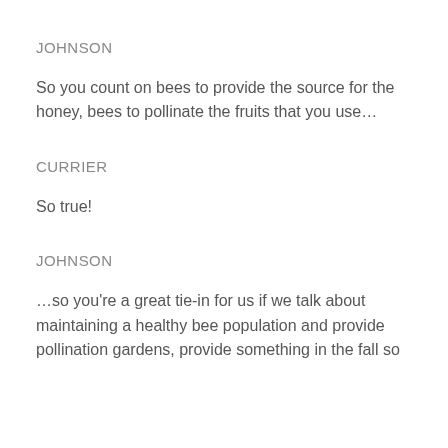JOHNSON
So you count on bees to provide the source for the honey, bees to pollinate the fruits that you use…
CURRIER
So true!
JOHNSON
…so you're a great tie-in for us if we talk about maintaining a healthy bee population and provide pollination gardens, provide something in the fall so